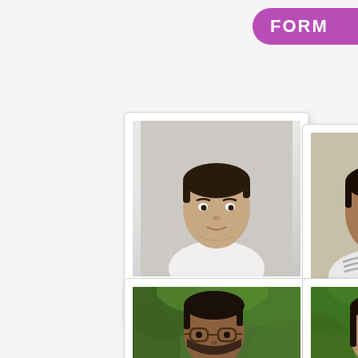FORM
[Figure (photo): Portrait photo of Francis Macwan, man in white shirt]
Francis Macwan
JAN 2009 - AUG 2011
[Figure (photo): Portrait photo of Arpit Jadav, man in striped shirt]
Arpit Jadav
AUG 2011 - JAN 2015
[Figure (photo): Portrait photo of young man with glasses outdoors]
[Figure (photo): Portrait photo of young woman smiling outdoors]